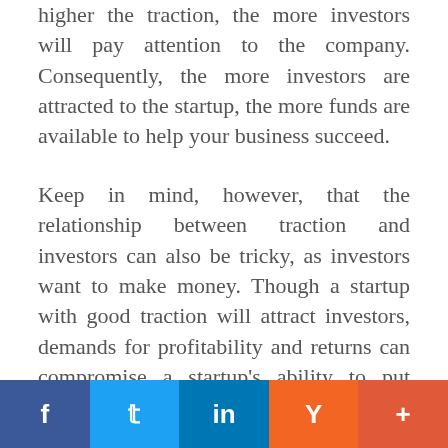higher the traction, the more investors will pay attention to the company. Consequently, the more investors are attracted to the startup, the more funds are available to help your business succeed.
Keep in mind, however, that the relationship between traction and investors can also be tricky, as investors want to make money. Though a startup with good traction will attract investors, demands for profitability and returns can compromise a startup's ability to put funds into building the business. Therefore, you want investors patient enough to ride out short-term losses in favor of a
[Figure (infographic): Social sharing bar with five buttons: Facebook (dark blue, f), Twitter (light blue, bird icon), LinkedIn (blue, in), Hacker News/YC (orange, Y), and a plus/share button (coral red, +)]